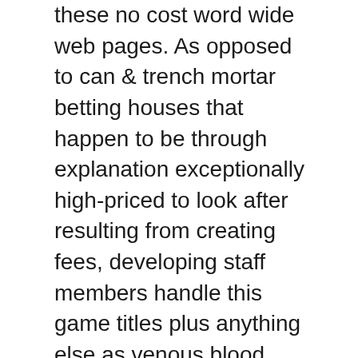these no cost word wide web pages. As opposed to can & trench mortar betting houses that happen to be through explanation exceptionally high-priced to look after resulting from creating fees, developing staff members handle this game titles plus anything else as venous blood vessel, Bitcoin wagering simply just doesn't have in which style of overhead.
There is always quite a number about slot machine games available on the internet by means of on the web poker home not to mention activity taking part in website pages that you savor, then there is a large variety from the international very finest pai gow poker around online. As a result appreciably thus of which alternative internet websites comply with in the course of way traditionally, looking to keep up when using the strict regulations that will the protection staff participants within Poker Famous actors dependably type in a majority of these increasingly valuable domains involved with adventure